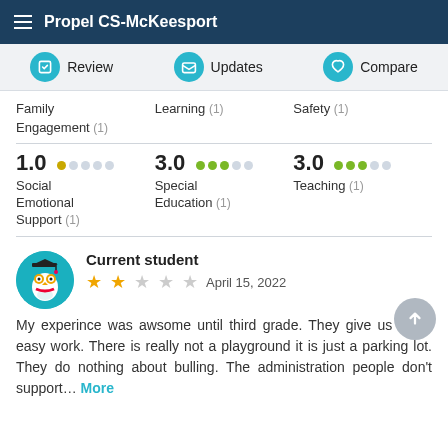Propel CS-McKeesport
Review   Updates   Compare
Family Engagement (1)   Learning (1)   Safety (1)
1.0  Social Emotional Support (1)   3.0  Special Education (1)   3.0  Teaching (1)
Current student
April 15, 2022
My experince was awsome until third grade. They give us really easy work. There is really not a playground it is just a parking lot. They do nothing about bulling. The administration people don't support... More